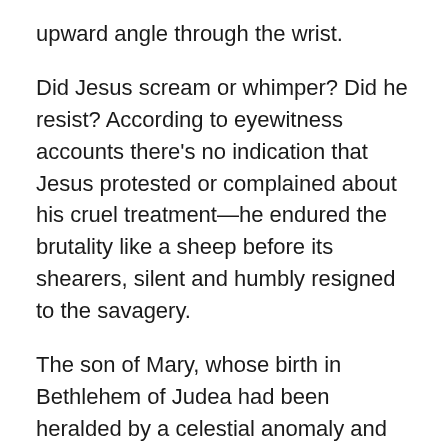upward angle through the wrist.
Did Jesus scream or whimper? Did he resist? According to eyewitness accounts there's no indication that Jesus protested or complained about his cruel treatment—he endured the brutality like a sheep before its shearers, silent and humbly resigned to the savagery.
The son of Mary, whose birth in Bethlehem of Judea had been heralded by a celestial anomaly and heavenly fanfare, was hoisted up and fixed in position on the horizontal post by a large nail smashed through the bones of his feet. With the merciless task completed, the soldiers watched, waited, and kept occupied and entertained by gambling for his clothes.
Pontius Pilate, the custodian of Roman justice,